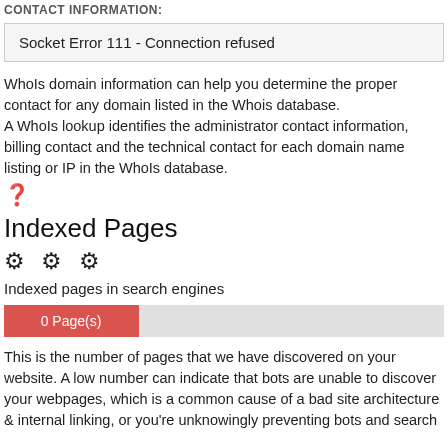CONTACT INFORMATION:
| Socket Error 111 - Connection refused |
WhoIs domain information can help you determine the proper contact for any domain listed in the Whois database.
A WhoIs lookup identifies the administrator contact information, billing contact and the technical contact for each domain name listing or IP in the WhoIs database.
[Figure (other): Question mark circle icon]
Indexed Pages
[Figure (other): Three gear/settings icons]
Indexed pages in search engines
[Figure (bar-chart): Indexed Pages Bar]
This is the number of pages that we have discovered on your website. A low number can indicate that bots are unable to discover your webpages, which is a common cause of a bad site architecture & internal linking, or you're unknowingly preventing bots and search